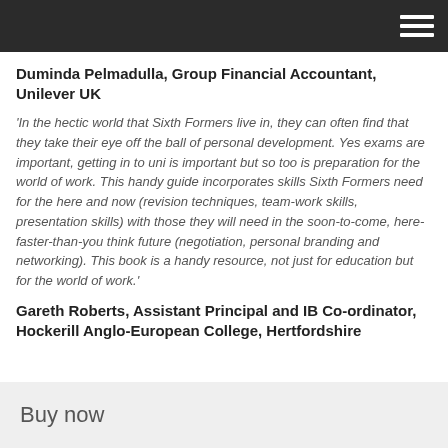Duminda Pelmadulla, Group Financial Accountant, Unilever UK
‘In the hectic world that Sixth Formers live in, they can often find that they take their eye off the ball of personal development. Yes exams are important, getting in to uni is important but so too is preparation for the world of work. This handy guide incorporates skills Sixth Formers need for the here and now (revision techniques, team-work skills, presentation skills) with those they will need in the soon-to-come, here-faster-than-you think future (negotiation, personal branding and networking). This book is a handy resource, not just for education but for the world of work.’
Gareth Roberts, Assistant Principal and IB Co-ordinator, Hockerill Anglo-European College, Hertfordshire
Buy now